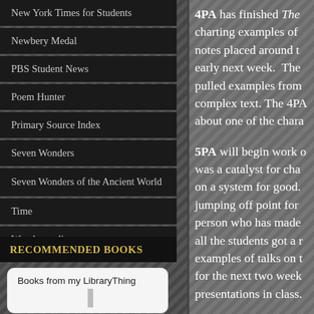New York Times for Students
Newbery Medal
PBS Student News
Poem Hunter
Primary Source Index
Seven Wonders
Seven Wonders of the Ancient World
Time
Wonderopolis
Recommended Books
Books from my LibraryThing
4PA has finished The charting examples of notes placed around t early next week.  The pulled examples from complex text. The 4PA about one of the chara
5PA will begin work o was a catalyst for cha on a system for good. jumping off point for person who has made all the students got a r examples of talks on t for the next two week presentations in class.